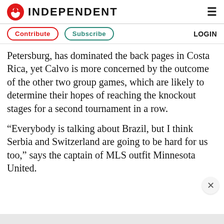INDEPENDENT
Contribute   Subscribe   LOGIN
Petersburg, has dominated the back pages in Costa Rica, yet Calvo is more concerned by the outcome of the other two group games, which are likely to determine their hopes of reaching the knockout stages for a second tournament in a row.
“Everybody is talking about Brazil, but I think Serbia and Switzerland are going to be hard for us too,” says the captain of MLS outfit Minnesota United.